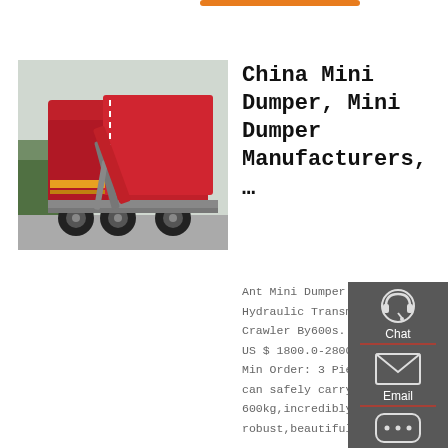[Figure (photo): Red dump truck / mini dumper vehicle photographed from the rear-left angle, outdoors in a lot with other vehicles visible in background.]
China Mini Dumper, Mini Dumper Manufacturers, …
Ant Mini Dumper Power Barrow Hydraulic Transmission Truck Crawler By600s. FOB Price: US $ 1800.0-2800.0 / Piece. Min Order: 3 Pieces. BY600s can safely carry 600kg,incredibly robust,beautiful
[Figure (infographic): Dark grey sidebar with four icon buttons: Chat (headset icon), Email (envelope icon), Contact (speech bubble with dots icon), Top (upward arrow icon). Dividers in red between items.]